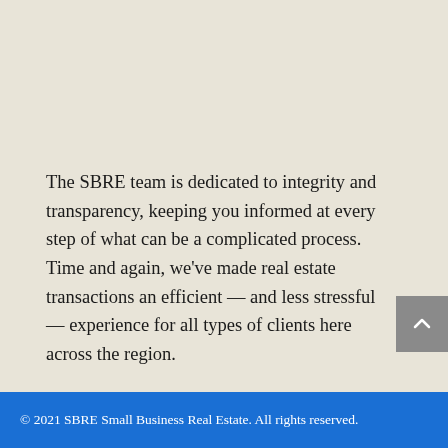The SBRE team is dedicated to integrity and transparency, keeping you informed at every step of what can be a complicated process. Time and again, we've made real estate transactions an efficient — and less stressful — experience for all types of clients here across the region.
© 2021 SBRE Small Business Real Estate. All rights reserved.